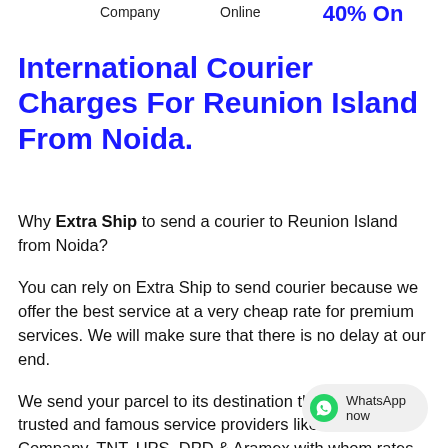Company   Online   Save Up to 40% On
International Courier Charges For Reunion Island From Noida.
Why Extra Ship to send a courier to Reunion Island from Noida?
You can rely on Extra Ship to send courier because we offer the best service at a very cheap rate for premium services. We will make sure that there is no delay at our end.
We send your parcel to its destination through the world trusted and famous service providers like DHL, Other Company, TNT, UPS, DPD & Aramex with whom rates are already negotiated, and the reduced rate passed on to you up to 40% Discount for Reunion Island From No...